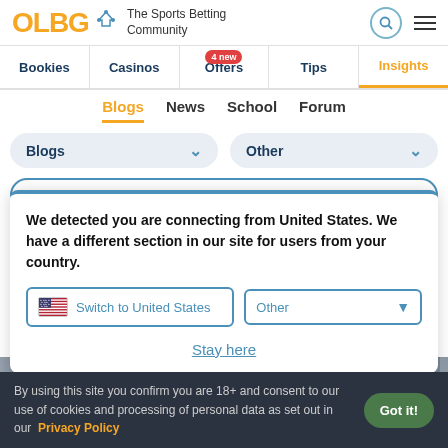OLBG — The Sports Betting Community
Bookies | Casinos | Offers (4 new) | Tips | Insights
Blogs | News | School | Forum
Blogs dropdown | Other dropdown
We detected you are connecting from United States. We have a different section in our site for users from your country.
Switch to United States | Other
Stay here
By using this site you confirm you are 18+ and consent to our use of cookies and processing of personal data as set out in our Privacy Policy
Got it!